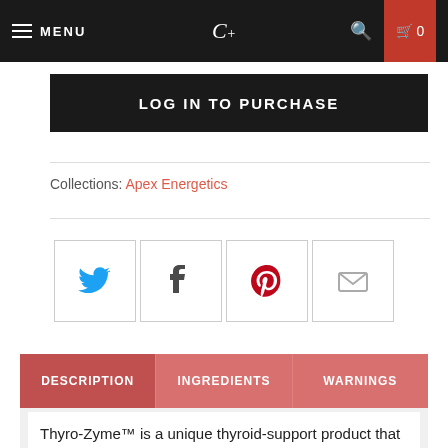MENU | C+ | 0
LOG IN TO PURCHASE
Collections: Apex Energetics
[Figure (other): Social sharing icons: Twitter, Facebook, Pinterest, Email]
DESCRIPTION | INGREDIENTS | WARNINGS
Thyro-Zyme™ is a unique thyroid-support product that includes herbs, trace elements, and glandulars. These ingredients also support the related endocrine system. Key ingredients include L-tyrosine, Irish moss,